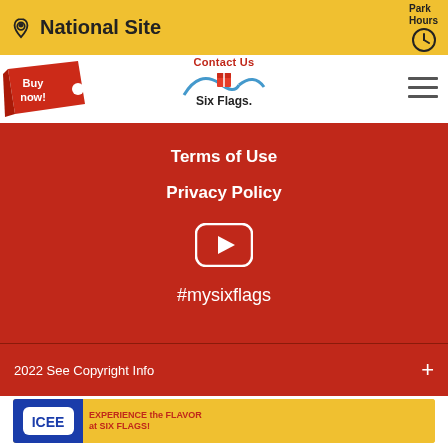National Site | Park Hours
Contact Us
[Figure (logo): Six Flags logo with rollercoaster and gifts]
[Figure (illustration): Red Buy now! ticket stub graphic]
[Figure (illustration): Hamburger menu icon (three horizontal lines)]
Terms of Use
Privacy Policy
[Figure (illustration): YouTube play button icon (rounded square with triangle)]
#mysixflags
2022 See Copyright Info
[Figure (illustration): ICEE advertisement banner - Experience the Flavor at Six Flags!]